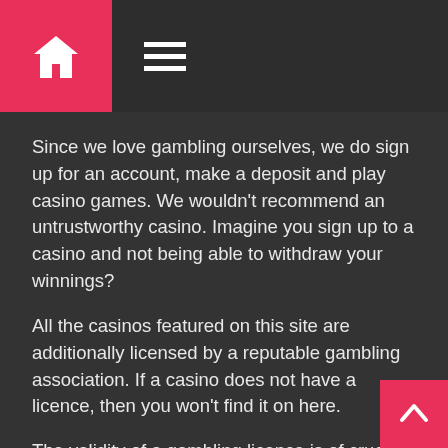Home / Menu navigation header
Since we love gambling ourselves, we do sign up for an account, make a deposit and play casino games. We wouldn't recommend an untrustworthy casino. Imagine you sign up to a casino and not being able to withdraw your winnings?
All the casinos featured on this site are additionally licensed by a reputable gambling association. If a casino does not have a licence, then you won't find it on here.
The validity of a gambling licence is of crucial importance since the issuer is guaranteeing that the casino is safe and secure, adheres to gambling rules and regulation and is fair and secure.
Furthermore, they are also ensuring that the casino employs the service of a Random Number Generator. An RNG makes sure that each spin on an online pokie has the same odds as the next